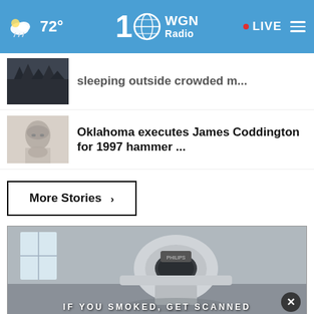72° WGN Radio 100 • LIVE
sleeping outside crowded m...
Oklahoma executes James Coddington for 1997 hammer ...
More Stories ›
[Figure (screenshot): CT scanner in a room with text overlay: IF YOU SMOKED, GET SCANNED. Close button visible.]
THESHELTERPETPROJECT.ORG